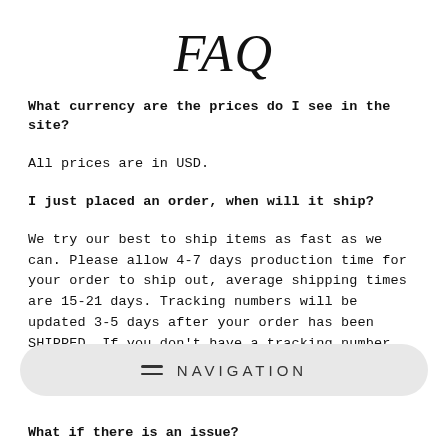FAQ
What currency are the prices do I see in the site?
All prices are in USD.
I just placed an order, when will it ship?
We try our best to ship items as fast as we can. Please allow 4-7 days production time for your order to ship out, average shipping times are 15-21 days. Tracking numbers will be updated 3-5 days after your order has been SHIPPED. If you don't have a tracking number after 7 business please email us at
NAVIGATION
What if there is an issue?